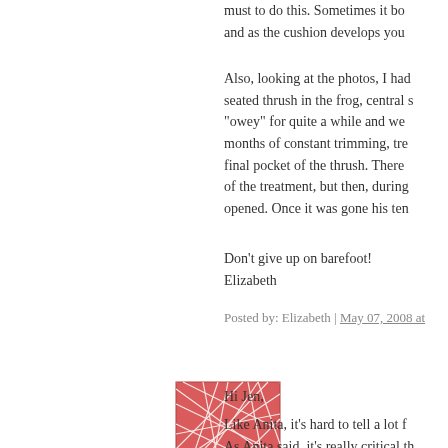must to do this. Sometimes it bo... and as the cushion develops you...
Also, looking at the photos, I had... seated thrush in the frog, central s... "owey" for quite a while and we ... months of constant trimming, tre... final pocket of the thrush. There ... of the treatment, but then, during... opened. Once it was gone his ten...
Don't give up on barefoot!
Elizabeth
Posted by: Elizabeth | May 07, 2008 at...
[Figure (illustration): Red/pink abstract geometric avatar image with white line network pattern on square background]
Hi Jen,
Like Anita, it's hard to tell a lot f... As Anita said, it's really critical th... seem to show some flare, which n... barefoot natural trim only works ... and exercise. Along with regular... your horse needs. For example, h... would be supplemented. The env... your horse over. Soft paddocks d... rocks/gravel, etc. to the paddock... turnout is the ideal, but if that's n... rounded pea stone. I've added th...